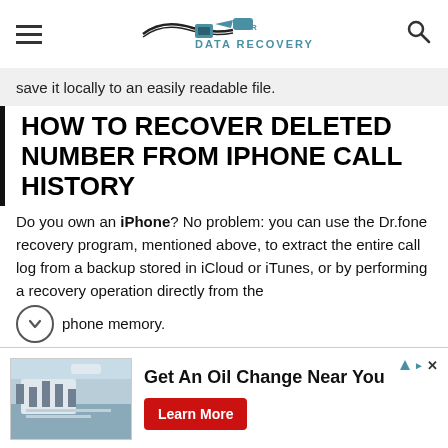For Data Recovery (logo/navigation header)
save it locally to an easily readable file.
HOW TO RECOVER DELETED NUMBER FROM IPHONE CALL HISTORY
Do you own an iPhone? No problem: you can use the Dr.fone recovery program, mentioned above, to extract the entire call log from a backup stored in iCloud or iTunes, or by performing a recovery operation directly from the phone memory.
[Figure (other): Advertisement banner: Get An Oil Change Near You - Firestone, with Learn More button]
Firestone